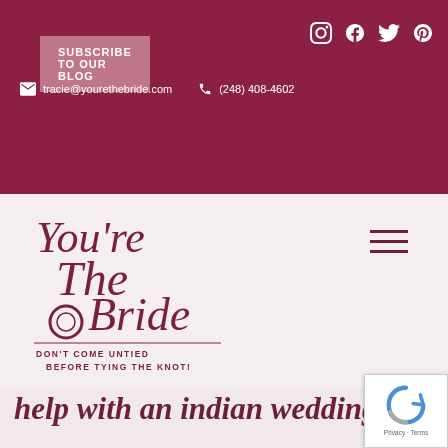SUBSCRIBE TO OUR BLOG
tracie@yourethebride.com   (248) 408-4602
SCHEDULE YOUR CONSULTATION
[Figure (logo): You're The Bride logo with cursive script text and ring graphic. Tagline: DON'T COME UNTIED BEFORE TYING THE KNOT!]
help with an indian wedding